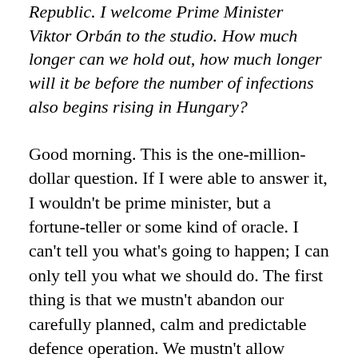Republic. I welcome Prime Minister Viktor Orbán to the studio. How much longer can we hold out, how much longer will it be before the number of infections also begins rising in Hungary?
Good morning. This is the one-million-dollar question. If I were able to answer it, I wouldn't be prime minister, but a fortune-teller or some kind of oracle. I can't tell you what's going to happen; I can only tell you what we should do. The first thing is that we mustn't abandon our carefully planned, calm and predictable defence operation. We mustn't allow ourselves to be carried away by emotions, enthusiasm, our hearts, the summer, Lake Balaton and holidays: we should keep in mind – somewhere at the back of our mind – that the virus is here with us